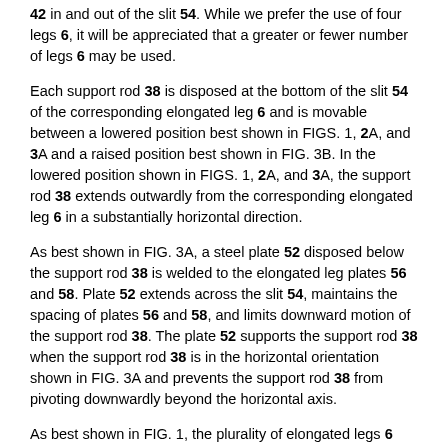42 in and out of the slit 54. While we prefer the use of four legs 6, it will be appreciated that a greater or fewer number of legs 6 may be used.
Each support rod 38 is disposed at the bottom of the slit 54 of the corresponding elongated leg 6 and is movable between a lowered position best shown in FIGS. 1, 2A, and 3A and a raised position best shown in FIG. 3B. In the lowered position shown in FIGS. 1, 2A, and 3A, the support rod 38 extends outwardly from the corresponding elongated leg 6 in a substantially horizontal direction.
As best shown in FIG. 3A, a steel plate 52 disposed below the support rod 38 is welded to the elongated leg plates 56 and 58. Plate 52 extends across the slit 54, maintains the spacing of plates 56 and 58, and limits downward motion of the support rod 38. The plate 52 supports the support rod 38 when the support rod 38 is in the horizontal orientation shown in FIG. 3A and prevents the support rod 38 from pivoting downwardly beyond the horizontal axis.
As best shown in FIG. 1, the plurality of elongated legs 6 define an open area therebetween. Center shaft 10 extends from the attachment part 4 within the open area. The center shaft 10 supports the actuating part 12 and the width adjusting part 24.
As best shown in FIG. 2B, the lifting apparatus 2 includes two perpendicular